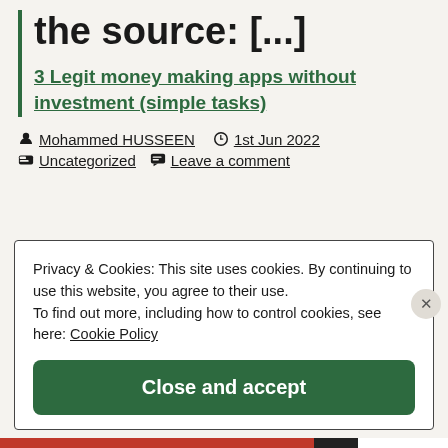the source: [...]
3 Legit money making apps without investment (simple tasks)
Mohammed HUSSEEN   1st Jun 2022
Uncategorized   Leave a comment
Privacy & Cookies: This site uses cookies. By continuing to use this website, you agree to their use.
To find out more, including how to control cookies, see here: Cookie Policy
Close and accept